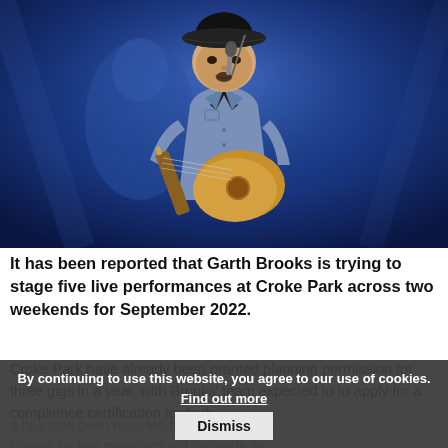[Figure (photo): A man wearing a black cowboy hat singing into a microphone while playing an acoustic guitar on stage, lit by blue stage lighting. He wears a denim shirt and dark undershirt.]
It has been reported that Garth Brooks is trying to stage five live performances at Croke Park across two weekends for September 2022.
Croke Park have already been granted planning permission for three gigs in a year, with Brooks' team expected to to apply for a complience certification for both.
It has now been reported that an application to prevent licence for two more gigs will be made so
By continuing to use this website, you agree to our use of cookies. Find out more  Dismiss